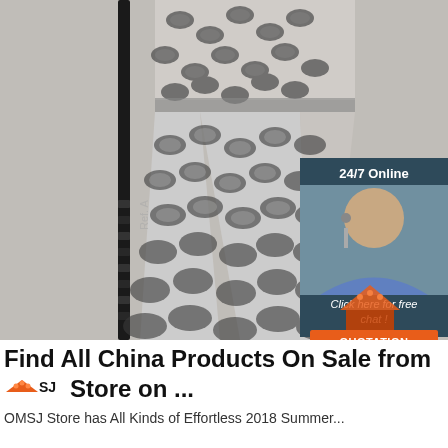[Figure (photo): A mannequin or model wearing a snake-print two-piece outfit (top and wide-leg pants) in black and white/grey tones, displayed against a light grey background with a black pole/stand visible on the left. A '24/7 Online' customer service chat widget is overlaid in the upper right, showing a woman with a headset, 'Click here for free chat!' text, and an orange 'QUOTATION' button.]
Find All China Products On Sale from TOMSJ Store on ...
OMSJ Store has All Kinds of Effortless 2018 Summer...